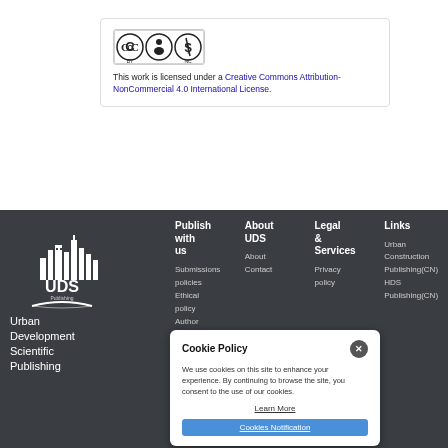[Figure (logo): Creative Commons BY-NC license badge]
This work is licensed under a Creative Commons Attribution-NonCommercial 4.0 International License.
[Figure (logo): Urban Development Scientific Publishing (UDS) logo with city skyline icon and open book]
Urban Development Scientific Publishing
Publish with us
About UDS
Legal & Services
Links
Submissions
policies
Ethical
policy
Author
guideline
EIC &
About
Contact
Privacy
policy
Urban Construction
Publishing(CN)
HDS
Publishing(CN)
Cookie Policy
We use cookies on this site to enhance your experience. By continuing to browse the site, you consent to the use of our cookies.
Learn More
Cookies Notification